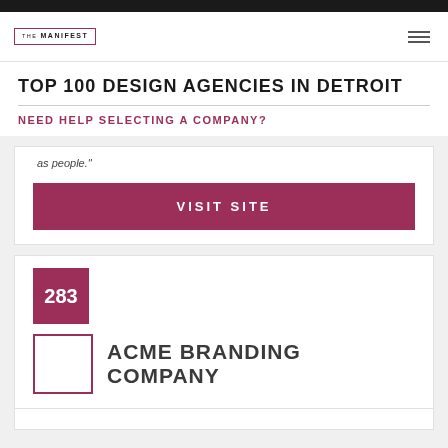THE MANIFEST
TOP 100 DESIGN AGENCIES IN DETROIT
NEED HELP SELECTING A COMPANY?
as people."
VISIT SITE
283
ACME BRANDING COMPANY